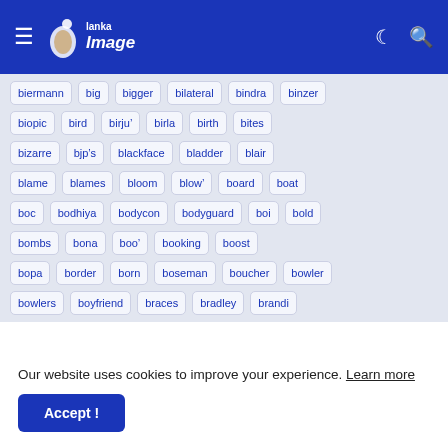Lanka Image navigation bar with hamburger menu, logo, moon icon, and search icon
biermann, big, bigger, bilateral, bindra, binzer, biopic, bird, birju&#8217;, birla, birth, bites, bizarre, bjp&#8217;s, blackface, bladder, blair, blame, blames, bloom, blow', board, boat, boc, bodhiya, bodycon, bodyguard, boi, bold, bombs, bona, boo&#8217;, booking, boost, bopa, border, born, boseman, boucher, bowler, bowlers, boyfriend, braces, bradley, brandi
Our website uses cookies to improve your experience. Learn more
Accept !